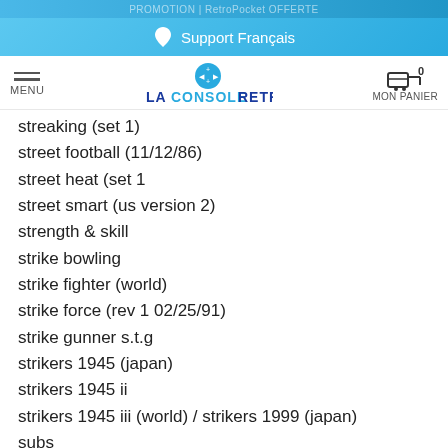PROMOTION | RetroPocket OFFERTE
Support Français
MENU | LA CONSOLE RETRO | MON PANIER 0
streaking (set 1)
street football (11/12/86)
street heat (set 1
street smart (us version 2)
strength & skill
strike bowling
strike fighter (world)
strike force (rev 1 02/25/91)
strike gunner s.t.g
strikers 1945 (japan)
strikers 1945 ii
strikers 1945 iii (world) / strikers 1999 (japan)
subs
success joe (world)